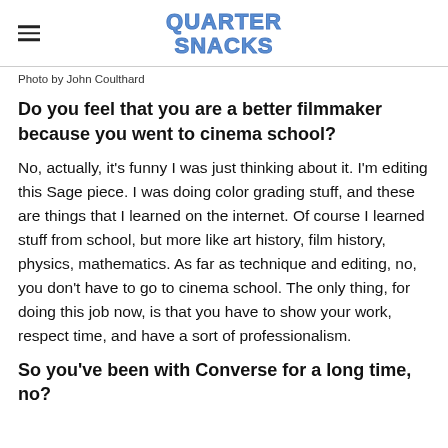QUARTER SNACKS
Photo by John Coulthard
Do you feel that you are a better filmmaker because you went to cinema school?
No, actually, it's funny I was just thinking about it. I'm editing this Sage piece. I was doing color grading stuff, and these are things that I learned on the internet. Of course I learned stuff from school, but more like art history, film history, physics, mathematics. As far as technique and editing, no, you don't have to go to cinema school. The only thing, for doing this job now, is that you have to show your work, respect time, and have a sort of professionalism.
So you've been with Converse for a long time, no?